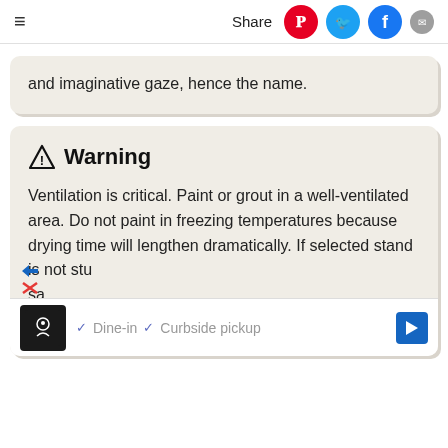≡   Share
and imaginative gaze, hence the name.
⚠ Warning
Ventilation is critical. Paint or grout in a well-ventilated area. Do not paint in freezing temperatures because drying time will lengthen dramatically. If selected stand is not sturdy enough to support the bowling ball, a safe... cus... in...